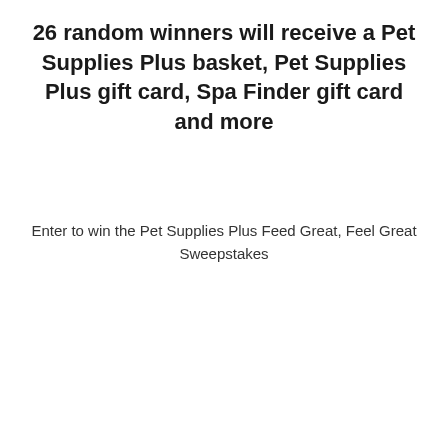26 random winners will receive a Pet Supplies Plus basket, Pet Supplies Plus gift card, Spa Finder gift card and more
Enter to win the Pet Supplies Plus Feed Great, Feel Great Sweepstakes